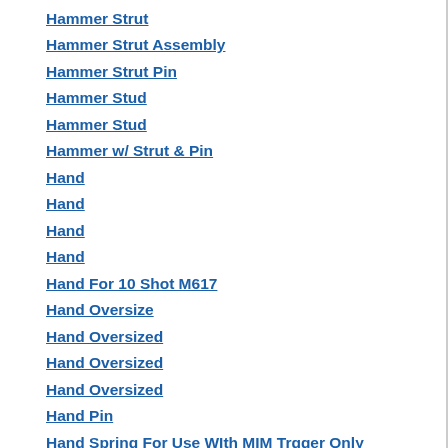Hammer Strut
Hammer Strut Assembly
Hammer Strut Pin
Hammer Stud
Hammer Stud
Hammer w/ Strut & Pin
Hand
Hand
Hand
Hand
Hand For 10 Shot M617
Hand Oversize
Hand Oversized
Hand Oversized
Hand Oversized
Hand Pin
Hand Spring For Use WIth MIM Trgger Only
Hand Spring For use with Mimed Trigger
Hand Stipple Back Strap